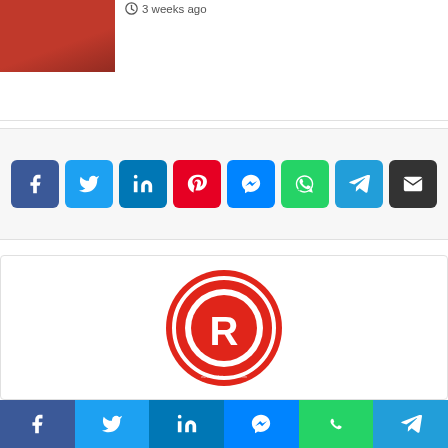[Figure (photo): Thumbnail image in red tones at top left]
3 weeks ago
[Figure (other): Social share buttons row: Facebook, Twitter, LinkedIn, Pinterest, Messenger, WhatsApp, Telegram, Email]
[Figure (logo): Revelationmusik red circular logo with white R letter mark]
admin
Revelationmusik is a company working towards achieving a standard music record label, to discover and encourage artists, help them reach
[Figure (other): Bottom social share bar: Facebook, Twitter, LinkedIn, Messenger, WhatsApp, Telegram]